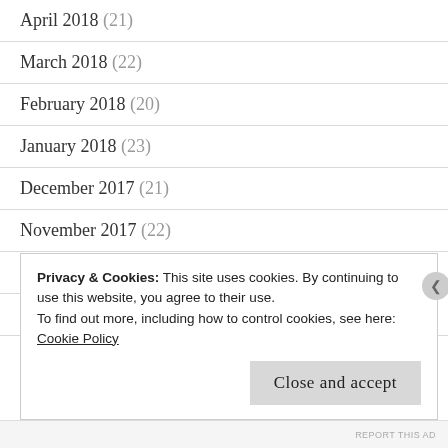April 2018 (21)
March 2018 (22)
February 2018 (20)
January 2018 (23)
December 2017 (21)
November 2017 (22)
October 2017 (22)
September 2017 (23)
August 2017 (28)
Privacy & Cookies: This site uses cookies. By continuing to use this website, you agree to their use.
To find out more, including how to control cookies, see here:
Cookie Policy
Close and accept
REPORT THIS AD